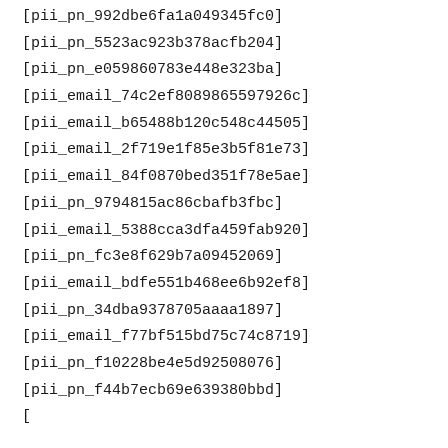[pii_pn_992dbe6fa1a049345fc0]
[pii_pn_5523ac923b378acfb204]
[pii_pn_e059860783e448e323ba]
[pii_email_74c2ef8089865597926c]
[pii_email_b65488b120c548c44505]
[pii_email_2f719e1f85e3b5f81e73]
[pii_email_84f0870bed351f78e5ae]
[pii_pn_9794815ac86cbafb3fbc]
[pii_email_5388cca3dfa459fab920]
[pii_pn_fc3e8f629b7a09452069]
[pii_email_bdfe551b468ee6b92ef8]
[pii_pn_34dba9378705aaaa1897]
[pii_email_f77bf515bd75c74c8719]
[pii_pn_f10228be4e5d92508076]
[pii_pn_f44b7ecb69e639380bbd]
[…